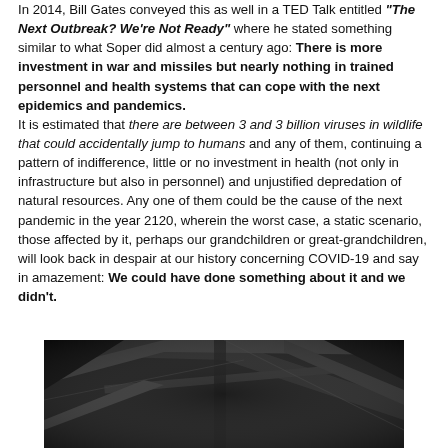In 2014, Bill Gates conveyed this as well in a TED Talk entitled "The Next Outbreak? We're Not Ready" where he stated something similar to what Soper did almost a century ago: There is more investment in war and missiles but nearly nothing in trained personnel and health systems that can cope with the next epidemics and pandemics. It is estimated that there are between 3 and 3 billion viruses in wildlife that could accidentally jump to humans and any of them, continuing a pattern of indifference, little or no investment in health (not only in infrastructure but also in personnel) and unjustified depredation of natural resources. Any one of them could be the cause of the next pandemic in the year 2120, wherein the worst case, a static scenario, those affected by it, perhaps our grandchildren or great-grandchildren, will look back in despair at our history concerning COVID-19 and say in amazement: We could have done something about it and we didn't.
[Figure (photo): Black and white close-up photograph showing dark wooden or structural beams/rafters, possibly an old barn or building interior, in high contrast monochrome.]